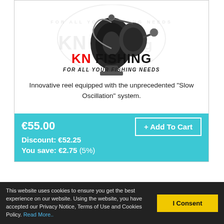[Figure (photo): Fishing reel product image with KN Fishing logo watermark and brand name 'KN FISHING FOR ALL YOUR FISHING NEEDS']
Innovative reel equipped with the unprecedented "Slow Oscillation" system.
€55.00
Discount: €52.25
You save: €2.75 (5%)
This website uses cookies to ensure you get the best experience on our website. Using the website, you have accepted our Privacy Notice, Terms of Use and Cookies Policy. Read More..